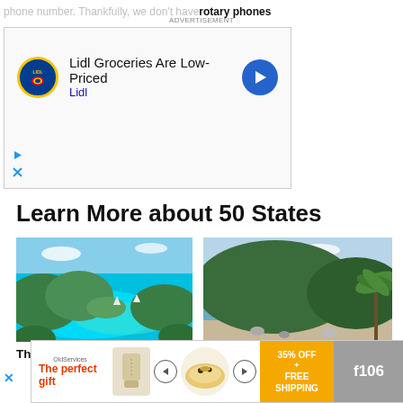phone number. Thankfully, we don't have rotary phones
[Figure (advertisement): Lidl Groceries Are Low-Priced advertisement with Lidl logo and blue arrow icon]
Learn More about 50 States
[Figure (photo): Aerial view of US Virgin Islands with turquoise water and green hills]
The US Virgin Islands
[Figure (photo): Tropical beach scene for American Samoa with palm trees and shoreline]
American Samoa
[Figure (advertisement): Bottom banner ad: The perfect gift - 35% OFF + FREE SHIPPING, f106 code]